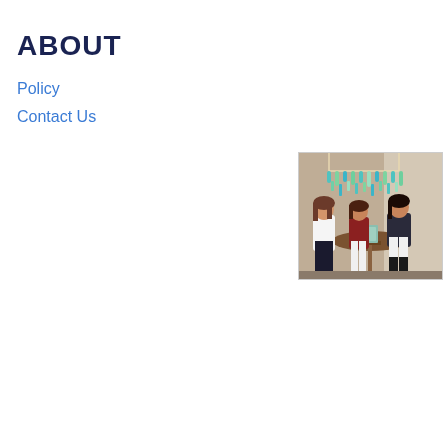ABOUT
Policy
Contact Us
[Figure (photo): Three women standing around a round table with a teal/turquoise hanging decoration above them, in what appears to be an indoor event space.]